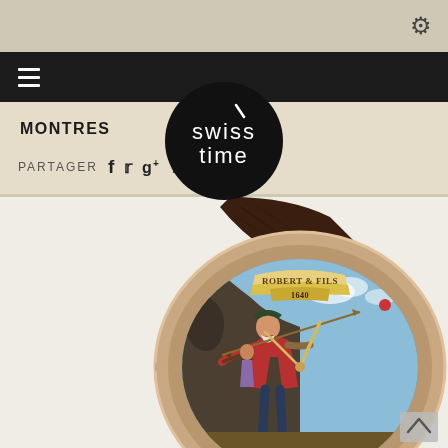[Figure (screenshot): Top navigation bar of Swiss Time website with gear settings icon on beige bar, hamburger menu on black bar, Swiss Time circular logo, MONTRES section header, social sharing icons (Facebook, Twitter, Google+, Pinterest, Email), and a product photo of a luxury Robert & Fils watch with painted enamel dial showing a classical figure scene and dark brown crocodile leather strap.]
MONTRES
PARTAGER
[Figure (photo): Close-up photo of a luxury wristwatch with rose gold case, dark brown crocodile leather strap, and a painted enamel dial depicting a classical Swiss historical scene (William Tell-style figure). The dial reads 'ROBERT & FILS 1640' on a banner at the top.]